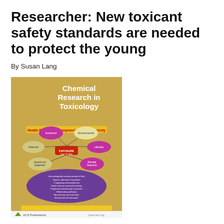Researcher: New toxicant safety standards are needed to protect the young
By Susan Lang
[Figure (photo): Cover of the journal 'Chemical Research in Toxicology' featuring a diagram about Health Risks of Developmental Immunotoxicity, with colored oval nodes connected by lines to a central node, and a purple ellipse listing text below. ACS Publications logo at bottom left.]
(PhysOrg.com) -- In an invited, peer-reviewed journal article on how prenatal exposure to toxic substances are